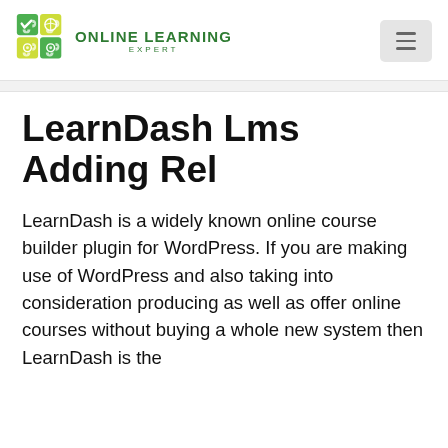[Figure (logo): Online Learning Expert logo with puzzle pieces in green and yellow, with text 'Online Learning Expert']
LearnDash Lms Adding Rel
LearnDash is a widely known online course builder plugin for WordPress. If you are making use of WordPress and also taking into consideration producing as well as offer online courses without buying a whole new system then LearnDash is the